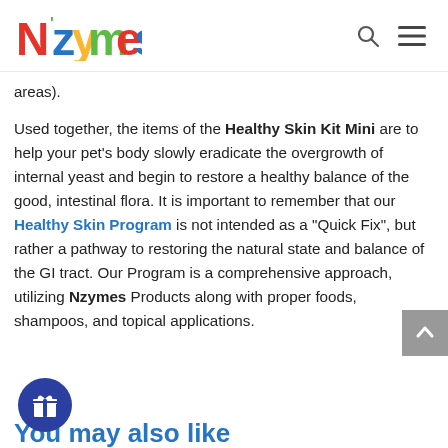Nzymes [logo] [search icon] [menu icon]
areas).
Used together, the items of the Healthy Skin Kit Mini are to help your pet's body slowly eradicate the overgrowth of internal yeast and begin to restore a healthy balance of the good, intestinal flora. It is important to remember that our Healthy Skin Program is not intended as a "Quick Fix", but rather a pathway to restoring the natural state and balance of the GI tract. Our Program is a comprehensive approach, utilizing Nzymes Products along with proper foods, shampoos, and topical applications.
You may also like